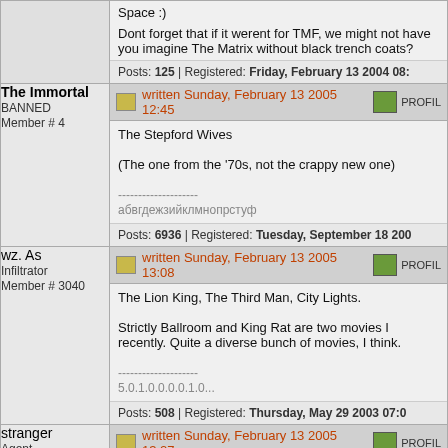Space :)
Dont forget that if it werent for TMF, we might not have you imagine The Matrix without black trench coats?
Posts: 125 | Registered: Friday, February 13 2004 08:
The Immortal
BANNED
Member # 4
written Sunday, February 13 2005 12:45
The Stepford Wives

(The one from the '70s, not the crappy new one)

--------------------
Posts: 6936 | Registered: Tuesday, September 18 200
wz. As
Infiltrator
Member # 3040
written Sunday, February 13 2005 13:08
The Lion King, The Third Man, City Lights.

Strictly Ballroom and King Rat are two movies I recently. Quite a diverse bunch of movies, I think.

--------------------
5.0.1.0.0.0.0.1.0...
Posts: 508 | Registered: Thursday, May 29 2003 07:0
stranger
Agent
Member # 1558
written Sunday, February 13 2005 13:27
Anyone who hasn't seen "Requiem for a Dream" and "
ass and see them. They might be hard to find as thou